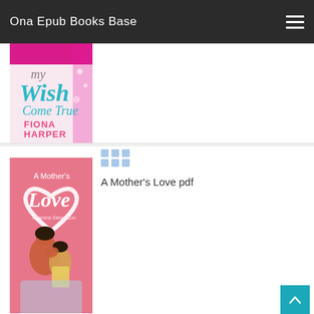Ona Epub Books Base
[Figure (illustration): Book cover: My Wish Come True by Fiona Harper — decorative holiday themed cover with teal script title text and pink/magenta background with illustrated ornaments and figures]
[Figure (illustration): Book cover: A Mother's Love by Charena Stevenson — pink background with white heart outline, showing a mother and daughter embracing]
A Mother's Love pdf
[Figure (illustration): Partial view of a third book row at bottom, showing a teal/cyan colored element]